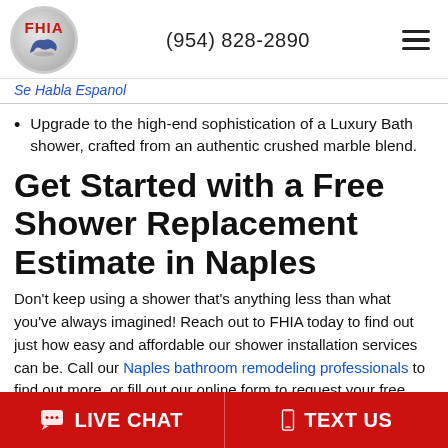FHIA logo | (954) 828-2890 | menu
Se Habla Espanol
Upgrade to the high-end sophistication of a Luxury Bath shower, crafted from an authentic crushed marble blend.
Get Started with a Free Shower Replacement Estimate in Naples
Don't keep using a shower that's anything less than what you've always imagined! Reach out to FHIA today to find out just how easy and affordable our shower installation services can be. Call our Naples bathroom remodeling professionals to find out more, or fill out our online form to request your free shower design consultation right away.
LIVE CHAT | TEXT US